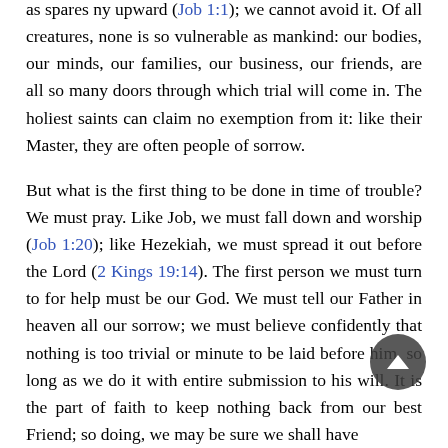as spares ny upward (Job 1:1); we cannot avoid it. Of all creatures, none is so vulnerable as mankind: our bodies, our minds, our families, our business, our friends, are all so many doors through which trial will come in. The holiest saints can claim no exemption from it: like their Master, they are often people of sorrow.
But what is the first thing to be done in time of trouble? We must pray. Like Job, we must fall down and worship (Job 1:20); like Hezekiah, we must spread it out before the Lord (2 Kings 19:14). The first person we must turn to for help must be our God. We must tell our Father in heaven all our sorrow; we must believe confidently that nothing is too trivial or minute to be laid before him, so long as we do it with entire submission to his will. It is the part of faith to keep nothing back from our best Friend; so doing, we may be sure we shall have